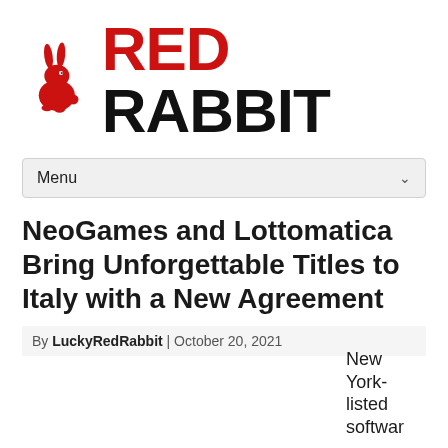[Figure (logo): Red Rabbit logo: red rabbit silhouette icon on left, bold text 'RED RABBIT' with RED in red color and RABBIT in black]
Menu
NeoGames and Lottomatica Bring Unforgettable Titles to Italy with a New Agreement
By LuckyRedRabbit | October 20, 2021
New York-listed softwar